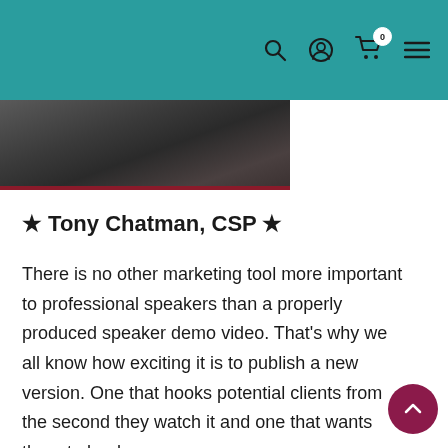Navigation header with search, user, cart (0 items), and menu icons
[Figure (photo): Partial photo of a person, cropped at top by header, shown in a dark image strip with a dark red underline]
★ Tony Chatman, CSP ★
There is no other marketing tool more important to professional speakers than a properly produced speaker demo video. That's why we all know how exciting it is to publish a new version. One that hooks potential clients from the second they watch it and one that wants them to book you.